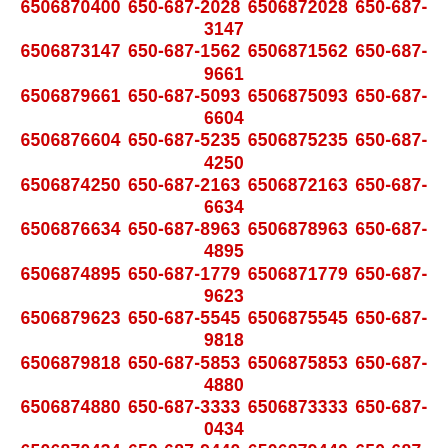6506870400 650-687-2028 6506872028 650-687-3147 6506873147 650-687-1562 6506871562 650-687-9661 6506879661 650-687-5093 6506875093 650-687-6604 6506876604 650-687-5235 6506875235 650-687-4250 6506874250 650-687-2163 6506872163 650-687-6634 6506876634 650-687-8963 6506878963 650-687-4895 6506874895 650-687-1779 6506871779 650-687-9623 6506879623 650-687-5545 6506875545 650-687-9818 6506879818 650-687-5853 6506875853 650-687-4880 6506874880 650-687-3333 6506873333 650-687-0434 6506870434 650-687-9440 6506879440 650-687-5432 6506875432 650-687-6245 6506876245 650-687-8459 6506878459 650-687-3821 6506873821 650-687-2137 6506872137 650-687-6190 6506876190 650-687-1683 6506871683 650-687-6640 6506876640 650-687-5851 6506875851 650-687-7125 6506877125 650-687-1037 6506871037 650-687-7949 6506877949 650-687-8028 6506878028 650-687-0573 6506870573 650-687-8402 6506878402 650-687-1934 6506871934 650-687-8007 6506878007 650-687-9997 6506879997 650-687-7295 6506877295 650-687-3355 6506873355 650-687-2383 6506872383 650-687-8312 6506878312 650-687-9551 6506879551 650-687-9319 6506879319 650-687-8655 6506878655 650-687-0489 6506870489 650-687-6871 6506876871 650-687-1998 6506871998 650-687-4330 6506874330 650-687-9177 6506879177 650-687-7997